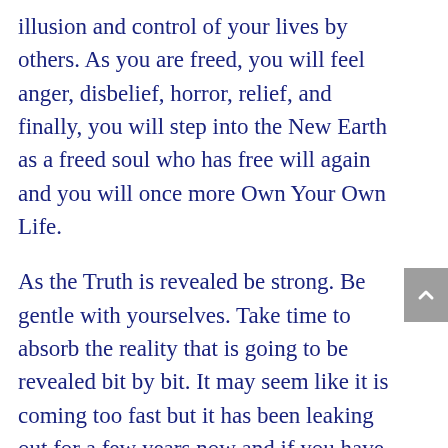illusion and control of your lives by others. As you are freed, you will feel anger, disbelief, horror, relief, and finally, you will step into the New Earth as a freed soul who has free will again and you will once more Own Your Own Life.
As the Truth is revealed be strong. Be gentle with yourselves. Take time to absorb the reality that is going to be revealed bit by bit. It may seem like it is coming too fast but it has been leaking out for a few years now and if you have been awake, you will have seen this coming. If you are newly awake, it will be more of a